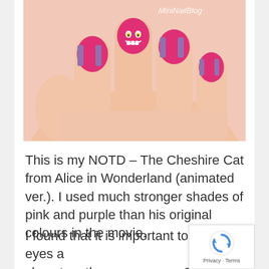[Figure (photo): Close-up photo of a hand with Cheshire Cat nail art: pink and purple striped nails with a Cheshire Cat face on one nail. Watermark 'MiniNailBlog' in top right.]
This is my NOTD – The Cheshire Cat from Alice in Wonderland (animated ver.). I used much stronger shades of pink and purple than his original colours in the movie.
I found that it is important to draw his eyes as close together as you can. Otherwise he would